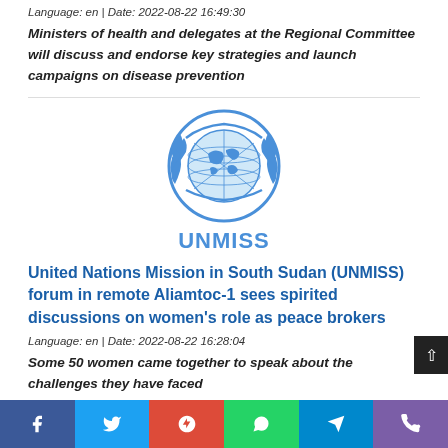Language: en | Date: 2022-08-22 16:49:30
Ministers of health and delegates at the Regional Committee will discuss and endorse key strategies and launch campaigns on disease prevention
[Figure (logo): UNMISS (United Nations Mission in South Sudan) logo — blue UN emblem with laurel wreath and globe, with text UNMISS below]
United Nations Mission in South Sudan (UNMISS) forum in remote Aliamtoc-1 sees spirited discussions on women's role as peace brokers
Language: en | Date: 2022-08-22 16:28:04
Some 50 women came together to speak about the challenges they have faced